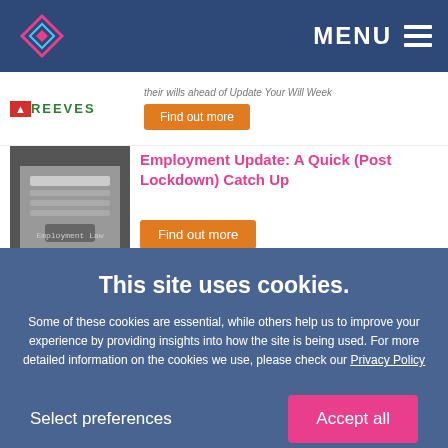[Figure (logo): Navigation bar with diamond-shaped logo and MENU hamburger button on dark blue background]
[Figure (logo): Reeves logo partially visible on left]
their wills ahead of Update Your Will Week
Find out more
[Figure (photo): Black and white photo of typewriter with Employment Law paper]
Employment Update: A Quick (Post Lockdown) Catch Up
Find out more
[Figure (photo): Two people outdoors in winter clothing]
Trekkers get ready to trek Saharan sand dunes for St Catherine's
Find out more
This site uses cookies.
Some of these cookies are essential, while others help us to improve your experience by providing insights into how the site is being used. For more detailed information on the cookies we use, please check our Privacy Policy
Select preferences
Accept all